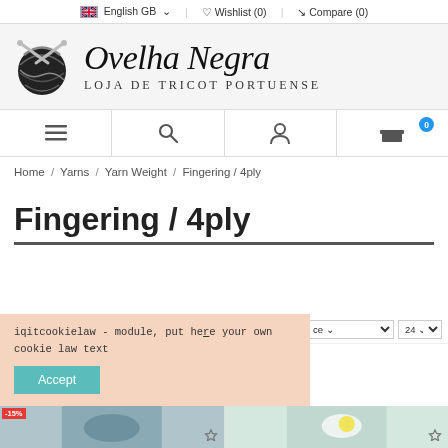🇬🇧 English GB ∨  |  ♡ Wishlist (0)  |  ⇄ Compare (0)
[Figure (logo): Ovelha Negra yarn shop logo with yarn ball graphic and text 'Ovelha Negra - Loja de Tricot Portuense']
[Figure (infographic): Navigation bar with hamburger menu, search, user account, and shopping cart (0) icons]
Home / Yarns / Yarn Weight / Fingering / 4ply
Fingering / 4ply
iqitcookielaw - module, put here your own cookie law text
Accept
[Figure (screenshot): Product thumbnails row showing yarn products, one with -15% discount badge]